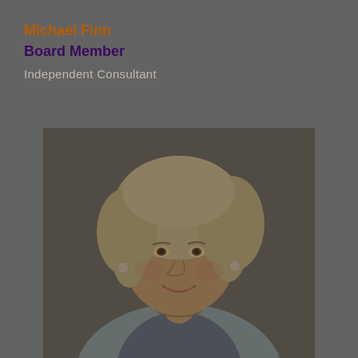Michael Finn
Board Member
Independent Consultant
[Figure (photo): Portrait photo of a woman with short blonde/grey hair, wearing a light blue jacket and necklace, smiling, overlaid on a dark grey background.]